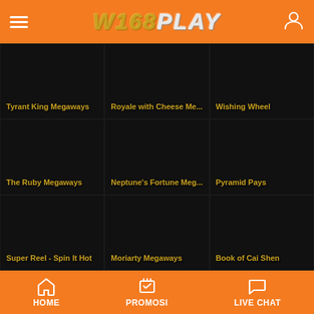W168PLAY
[Figure (screenshot): Game grid showing 9 slot game thumbnails: Tyrant King Megaways, Royale with Cheese Me..., Wishing Wheel, The Ruby Megaways, Neptune's Fortune Meg..., Pyramid Pays, Super Reel - Spin It Hot, Moriarty Megaways, Book of Cai Shen]
HOME | PROMOSI | LIVE CHAT